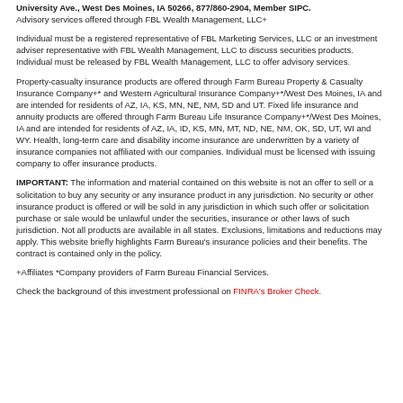University Ave., West Des Moines, IA 50266, 877/860-2904, Member SIPC. Advisory services offered through FBL Wealth Management, LLC+
Individual must be a registered representative of FBL Marketing Services, LLC or an investment adviser representative with FBL Wealth Management, LLC to discuss securities products. Individual must be released by FBL Wealth Management, LLC to offer advisory services.
Property-casualty insurance products are offered through Farm Bureau Property & Casualty Insurance Company+* and Western Agricultural Insurance Company+*/West Des Moines, IA and are intended for residents of AZ, IA, KS, MN, NE, NM, SD and UT. Fixed life insurance and annuity products are offered through Farm Bureau Life Insurance Company+*/West Des Moines, IA and are intended for residents of AZ, IA, ID, KS, MN, MT, ND, NE, NM, OK, SD, UT, WI and WY. Health, long-term care and disability income insurance are underwritten by a variety of insurance companies not affiliated with our companies. Individual must be licensed with issuing company to offer insurance products.
IMPORTANT: The information and material contained on this website is not an offer to sell or a solicitation to buy any security or any insurance product in any jurisdiction. No security or other insurance product is offered or will be sold in any jurisdiction in which such offer or solicitation purchase or sale would be unlawful under the securities, insurance or other laws of such jurisdiction. Not all products are available in all states. Exclusions, limitations and reductions may apply. This website briefly highlights Farm Bureau's insurance policies and their benefits. The contract is contained only in the policy.
+Affiliates *Company providers of Farm Bureau Financial Services.
Check the background of this investment professional on FINRA's Broker Check.